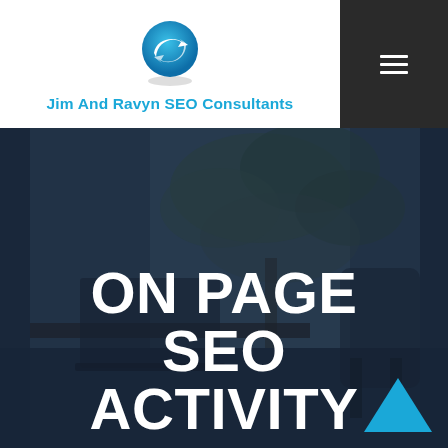[Figure (logo): Jim And Ravyn SEO Consultants logo with circular arrow icon in blue]
Jim And Ravyn SEO Consultants
[Figure (photo): Dark office background with person at desk and tree visible through window]
ON PAGE SEO ACTIVITY